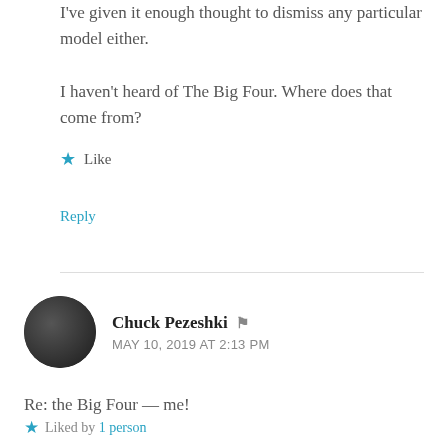I've given it enough thought to dismiss any particular model either.
I haven't heard of The Big Four. Where does that come from?
★ Like
Reply
Chuck Pezeshki
MAY 10, 2019 AT 2:13 PM
Re: the Big Four — me!
★ Liked by 1 person